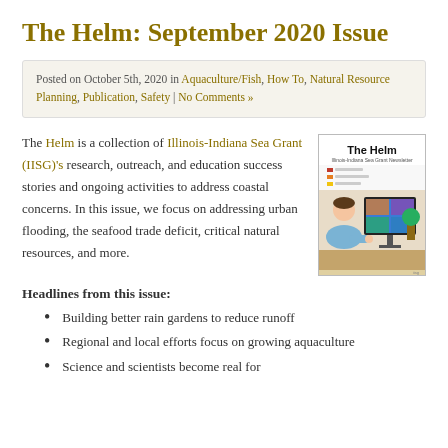The Helm: September 2020 Issue
Posted on October 5th, 2020 in Aquaculture/Fish, How To, Natural Resource Planning, Publication, Safety | No Comments »
The Helm is a collection of Illinois-Indiana Sea Grant (IISG)'s research, outreach, and education success stories and ongoing activities to address coastal concerns. In this issue, we focus on addressing urban flooding, the seafood trade deficit, critical natural resources, and more.
[Figure (illustration): Cover of The Helm newsletter showing a person on a video call with multiple participants on screen]
Headlines from this issue:
Building better rain gardens to reduce runoff
Regional and local efforts focus on growing aquaculture
Science and scientists become real for